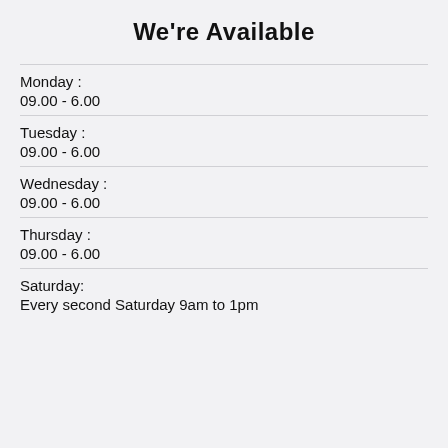We're Available
Monday :
09.00 - 6.00
Tuesday :
09.00 - 6.00
Wednesday :
09.00 - 6.00
Thursday :
09.00 - 6.00
Saturday:
Every second Saturday 9am to 1pm